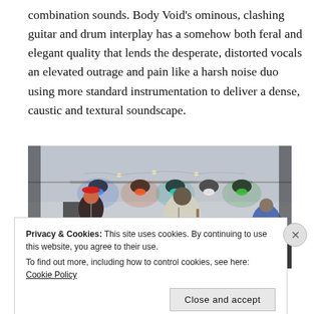combination sounds. Body Void's ominous, clashing guitar and drum interplay has a somehow both feral and elegant quality that lends the desperate, distorted vocals an elevated outrage and pain like a harsh noise duo using more standard instrumentation to deliver a dense, caustic and textural soundscape.
[Figure (photo): Band performing on stage with colorful stage lights (blue, red/orange, teal, white, green) hung above. Three musicians visible: one on left with microphone, one center-right with electric guitar wearing a light-colored jacket, one on far right partially visible. Dark background.]
Privacy & Cookies: This site uses cookies. By continuing to use this website, you agree to their use.
To find out more, including how to control cookies, see here: Cookie Policy
Close and accept